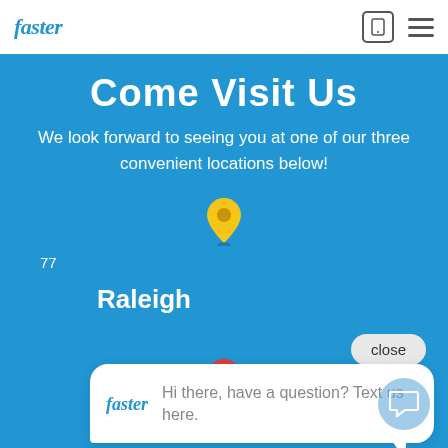Faster | [phone icon] [menu icon]
Come Visit Us
We look forward to seeing you at one of our three convenient locations below!
[Figure (infographic): Yellow map pin icon]
Raleigh
77...
[Figure (screenshot): Chat bubble popup: Faster logo and message 'Hi there, have a question? Text us here.']
[Figure (infographic): Red map pin icon]
Rolesville